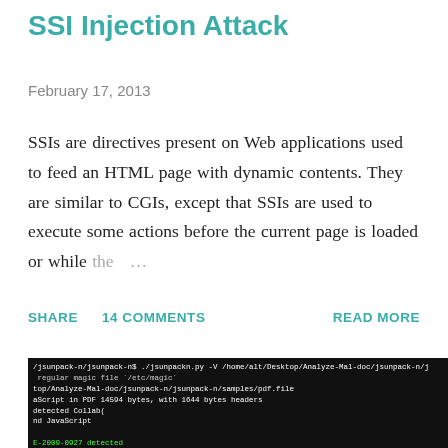SSI Injection Attack
February 17, 2013
SSIs are directives present on Web applications used to feed an HTML page with dynamic contents. They are similar to CGIs, except that SSIs are used to execute some actions before the current page is loaded or while the …
SHARE   14 COMMENTS   READ MORE
[Figure (screenshot): Terminal screenshot showing jsunpack-n tool analyzing a malicious PDF file, detecting JavaScript, Collab object, CVE-2009-0927, and shellcode warnings.]